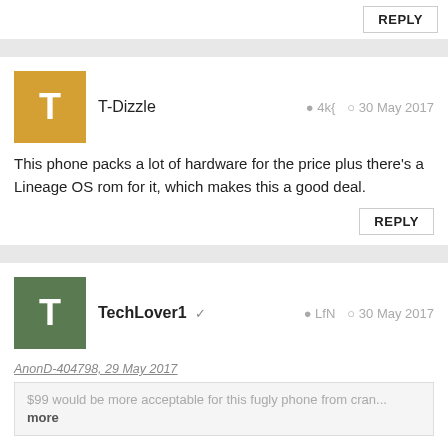REPLY
T-Dizzle  4k{  30 May 2017
This phone packs a lot of hardware for the price plus there's a Lineage OS rom for it, which makes this a good deal.
REPLY
TechLover1  LfN  30 May 2017
AnonD-404798, 29 May 2017
$99 would be more acceptable for this fugly phone from cran... more
Haha.